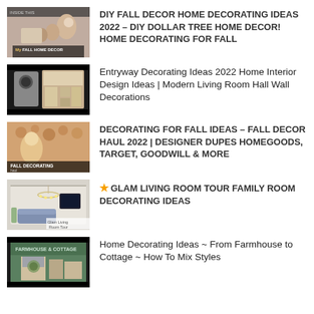DIY FALL DECOR HOME DECORATING IDEAS 2022 – DIY DOLLAR TREE HOME DECOR! HOME DECORATING FOR FALL
Entryway Decorating Ideas 2022 Home Interior Design Ideas | Modern Living Room Hall Wall Decorations
DECORATING FOR FALL IDEAS – FALL DECOR HAUL 2022 | DESIGNER DUPES HOMEGOODS, TARGET, GOODWILL & MORE
★ GLAM LIVING ROOM TOUR FAMILY ROOM DECORATING IDEAS
Home Decorating Ideas ~ From Farmhouse to Cottage ~ How To Mix Styles